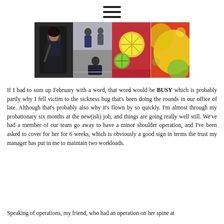[Figure (photo): Hamburger menu icon — three horizontal black lines centered at top of page]
[Figure (photo): A horizontal strip of four photos side by side: a young woman in dark clothes, two people in an indoor space, a drink with citrus slices in a red liquid, and a close-up of lemon/lime fruit.]
If I had to sum up February with a word, that word would be BUSY which is probably partly why I fell victim to the sickness bug that's been doing the rounds in our office of late. Although that's probably also why it's flown by so quickly. I'm almost through my probationary six months at the new(ish) job, and things are going really well still. We've had a member of our team go away to have a minor shoulder operation, and I've been asked to cover for her for 6 weeks, which is obviously a good sign in terms the trust my manager has put in me to maintain two workloads.
Speaking of operations, my friend, who had an operation on her spine at